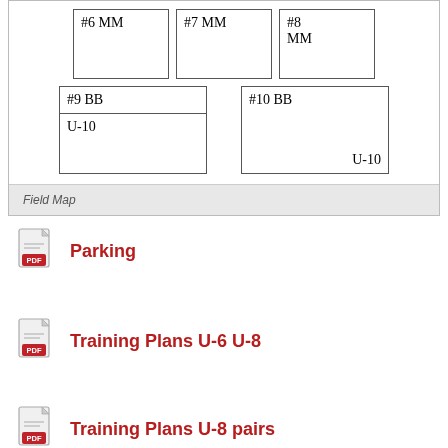[Figure (other): Field map diagram showing labeled soccer/sports fields. Top row: #6 MM, #7 MM, #8 MM boxes. Bottom row: #9 BB (with U-10 sub-label) and #10 BB (with U-10 sub-label).]
Field Map
Parking
Training Plans U-6 U-8
Training Plans U-8 pairs